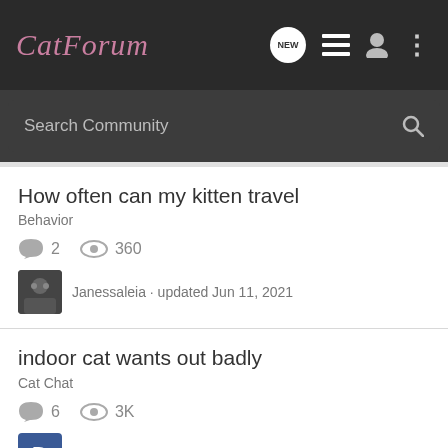CatForum
Search Community
How often can my kitten travel
Behavior
2 replies, 360 views
Janessaleia · updated Jun 11, 2021
indoor cat wants out badly
Cat Chat
6 replies, 3K views
diesel · updated Nov 28, 2009
Kitty wants to be outside!
Behavior